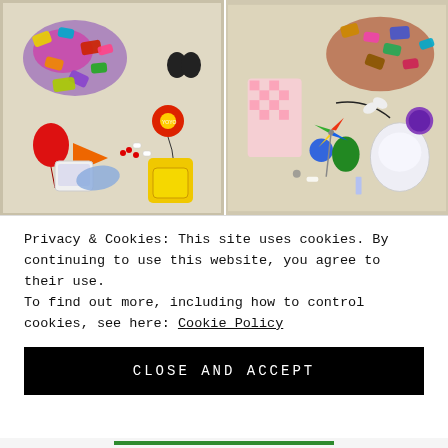[Figure (photo): Two side-by-side photos of scattered candy and small toys/trinkets laid out on a light beige surface. Left photo shows colorful wrapped candies, a red balloon, a yoyo, a small device, and various small items. Right photo shows similar colorful wrapped candies, a pink checkered bag, small toys, a pinwheel, and various party favor items.]
Privacy & Cookies: This site uses cookies. By continuing to use this website, you agree to their use.
To find out more, including how to control cookies, see here: Cookie Policy
CLOSE AND ACCEPT